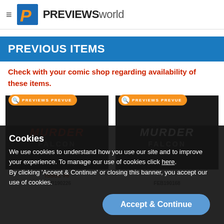PREVIEWS world
PREVIOUS ITEMS
Check with your comic shop regarding availability of these items.
[Figure (screenshot): Two comic book covers for 'Murder Falcon' displayed as product cards with orange 'PREVIEWS PREVUE' badges. Left card shows Issue #8 MAR190226 with red MURDER text. Right card shows FEB190168 with white MURDER text.]
Cookies
We use cookies to understand how you use our site and to improve your experience. To manage our use of cookies click here.
By clicking 'Accept & Continue' or closing this banner, you accept our use of cookies.